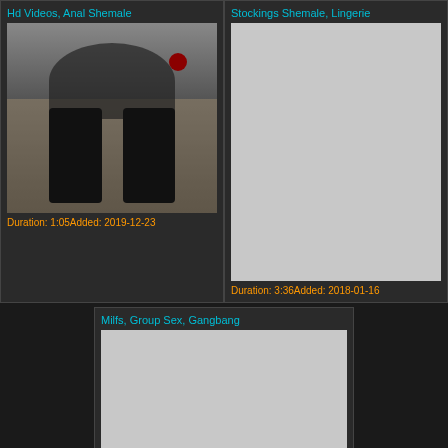Hd Videos, Anal Shemale
[Figure (photo): Video thumbnail showing a person in lingerie and boots]
Duration: 1:05Added: 2019-12-23
Stockings Shemale, Lingerie
[Figure (photo): Gray placeholder thumbnail]
Duration: 3:36Added: 2018-01-16
Milfs, Group Sex, Gangbang
[Figure (photo): Gray placeholder thumbnail]